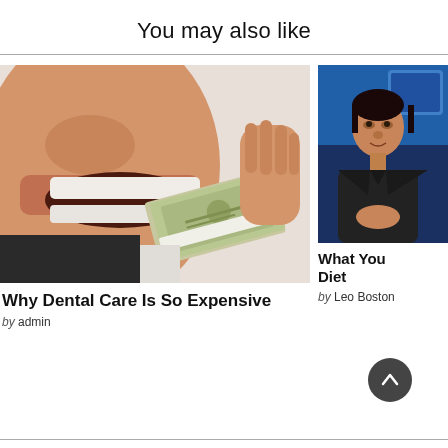You may also like
[Figure (photo): Close-up of a man biting a stack of hundred dollar bills]
Why Dental Care Is So Expensive
by admin
[Figure (photo): Man in dark shirt speaking on TV, blue background]
What You Diet
by Leo Boston